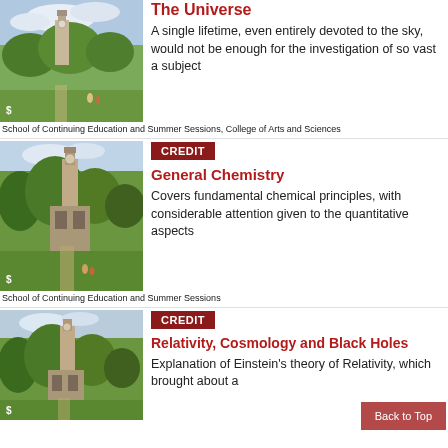[Figure (photo): Campus photo with clock tower and trees, partial view - The Universe course]
The Universe
A single lifetime, even entirely devoted to the sky, would not be enough for the investigation of so vast a subject
School of Continuing Education and Summer Sessions, College of Arts and Sciences
[Figure (photo): Campus photo with clock tower and trees - General Chemistry course]
CREDIT
General Chemistry
Covers fundamental chemical principles, with considerable attention given to the quantitative aspects
School of Continuing Education and Summer Sessions
[Figure (photo): Campus photo with clock tower and trees - Relativity course]
CREDIT
Relativity, Cosmology and Black Holes
Explanation of Einstein's theory of Relativity, which brought about a